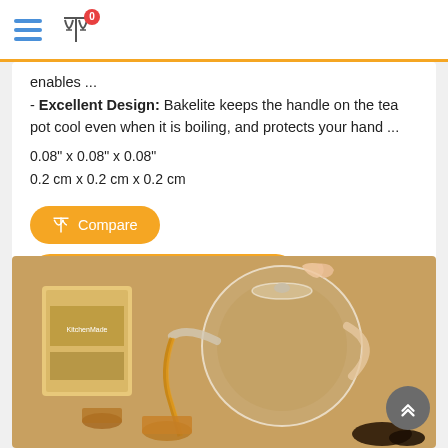Navigation header with hamburger menu and compare icon with badge 0
enables ...
- Excellent Design: Bakelite keeps the handle on the tea pot cool even when it is boiling, and protects your hand ...
0.08" x 0.08" x 0.08"
0.2 cm x 0.2 cm x 0.2 cm
Compare
View full specs in table format
View in store
[Figure (photo): Tea pot product image showing a glass teapot with tea being poured into cups, alongside product packaging box]